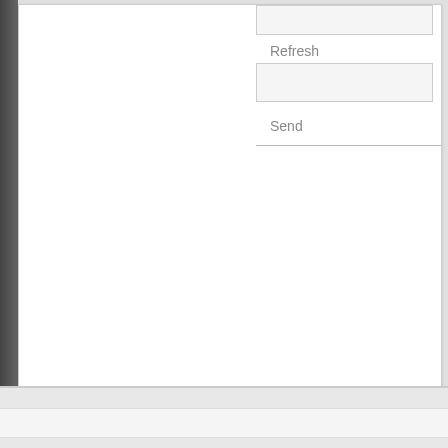[Figure (screenshot): Partial screenshot of a web form showing input fields, Refresh label, Send label, a horizontal divider, and a red bold copyright notice text 'We don't keep copyrigh...' (truncated). The page has a browser-like chrome with gray background and white content area.]
Refresh
Send
We don't keep copyrigh